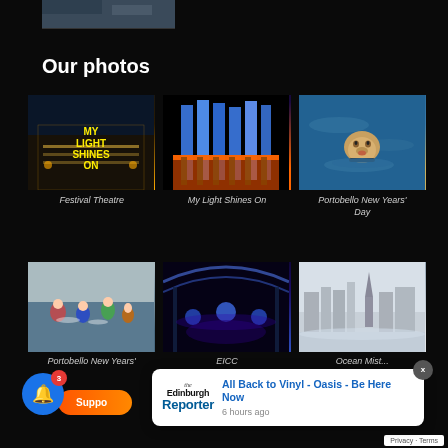[Figure (photo): Partially cropped photo at top of page]
Our photos
[Figure (photo): Festival Theatre building with 'MY LIGHT SHINES ON' text illuminated at night]
Festival Theatre
[Figure (photo): Blue light columns illuminating a building at night - My Light Shines On installation]
My Light Shines On
[Figure (photo): Dog swimming in water on Portobello New Years Day]
Portobello New Years' Day
[Figure (photo): People in water at Portobello New Years event]
Portobello New Years'
[Figure (photo): EICC interior with blue lighting]
EICC
[Figure (photo): Ocean mist cityscape view]
Ocean Mist...
[Figure (screenshot): Edinburgh Reporter notification popup: All Back to Vinyl - Oasis - Be Here Now, 6 hours ago]